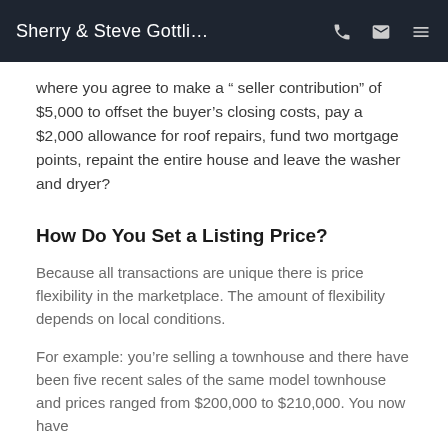Sherry & Steve Gottli...
where you agree to make a " seller contribution" of $5,000 to offset the buyer's closing costs, pay a $2,000 allowance for roof repairs, fund two mortgage points, repaint the entire house and leave the washer and dryer?
How Do You Set a Listing Price?
Because all transactions are unique there is price flexibility in the marketplace. The amount of flexibility depends on local conditions.
For example: you’re selling a townhouse and there have been five recent sales of the same model townhouse and prices ranged from $200,000 to $210,000. You now have